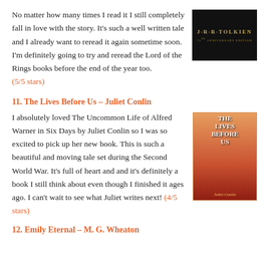No matter how many times I read it I still completely fall in love with the story. It's such a well written tale and I already want to reread it again sometime soon. I'm definitely going to try and reread the Lord of the Rings books before the end of the year too. (5/5 stars)
[Figure (photo): Book cover of J.R.R. Tolkien 75th Anniversary Edition against a dark/black background with gold text]
11. The Lives Before Us – Juliet Conlin
I absolutely loved The Uncommon Life of Alfred Warner in Six Days by Juliet Conlin so I was so excited to pick up her new book. This is such a beautiful and moving tale set during the Second World War. It's full of heart and and it's definitely a book I still think about even though I finished it ages ago. I can't wait to see what Juliet writes next! (4/5 stars)
[Figure (photo): Book cover of 'The Lives Before Us' by Juliet Conlin — warm orange/red gradient cover with figures and a boat]
12. Emily Eternal – M. G. Wheaton